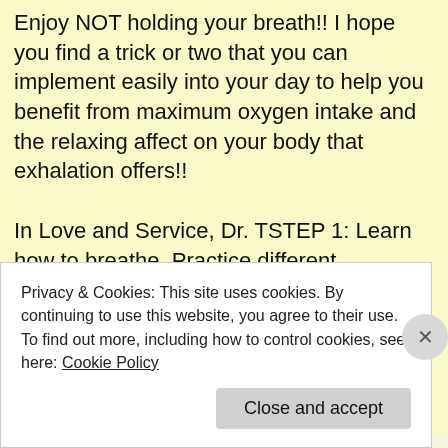Enjoy NOT holding your breath!! I hope you find a trick or two that you can implement easily into your day to help you benefit from maximum oxygen intake and the relaxing affect on your body that exhalation offers!!
In Love and Service, Dr. TSTEP 1: Learn how to breathe. Practice different techniques. The one I personally love the best is doubling my exhale in relation to my inhale. No matter what technique you use – relax the rest of your body WHILE you are practicing.
Privacy & Cookies: This site uses cookies. By continuing to use this website, you agree to their use.
To find out more, including how to control cookies, see here: Cookie Policy
Close and accept